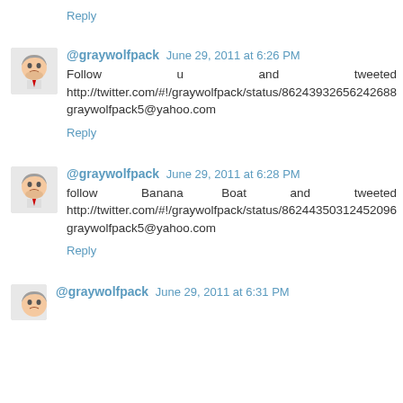Reply
@graywolfpack June 29, 2011 at 6:26 PM
Follow u and tweeted http://twitter.com/#!/graywolfpack/status/86243932656242688
graywolfpack5@yahoo.com
Reply
@graywolfpack June 29, 2011 at 6:28 PM
follow Banana Boat and tweeted http://twitter.com/#!/graywolfpack/status/86244350312452096
graywolfpack5@yahoo.com
Reply
@graywolfpack June 29, 2011 at 6:31 PM